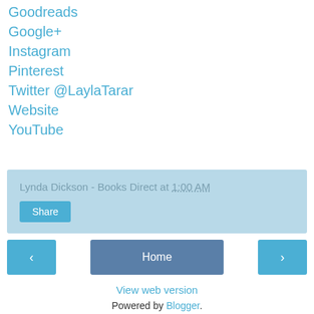Goodreads
Google+
Instagram
Pinterest
Twitter @LaylaTarar
Website
YouTube
Lynda Dickson - Books Direct at 1:00 AM
Share
Home
View web version
Powered by Blogger.